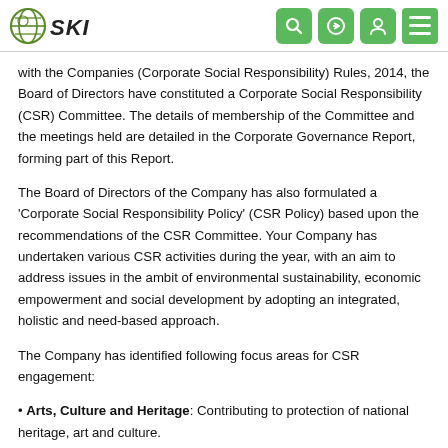SKI logo and navigation icons
with the Companies (Corporate Social Responsibility) Rules, 2014, the Board of Directors have constituted a Corporate Social Responsibility (CSR) Committee. The details of membership of the Committee and the meetings held are detailed in the Corporate Governance Report, forming part of this Report.
The Board of Directors of the Company has also formulated a 'Corporate Social Responsibility Policy' (CSR Policy) based upon the recommendations of the CSR Committee. Your Company has undertaken various CSR activities during the year, with an aim to address issues in the ambit of environmental sustainability, economic empowerment and social development by adopting an integrated, holistic and need-based approach.
The Company has identified following focus areas for CSR engagement:
Arts, Culture and Heritage: Contributing to protection of national heritage, art and culture.